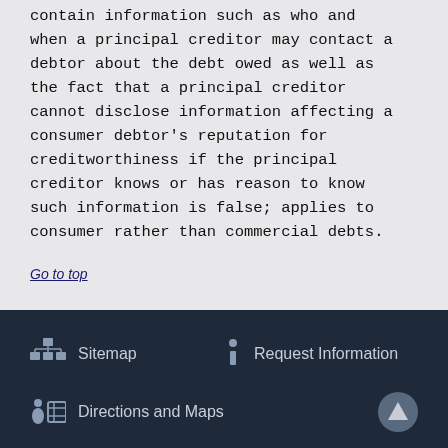contain information such as who and when a principal creditor may contact a debtor about the debt owed as well as the fact that a principal creditor cannot disclose information affecting a consumer debtor's reputation for creditworthiness if the principal creditor knows or has reason to know such information is false; applies to consumer rather than commercial debts.
Go to top
Sitemap | Request Information | Directions and Maps